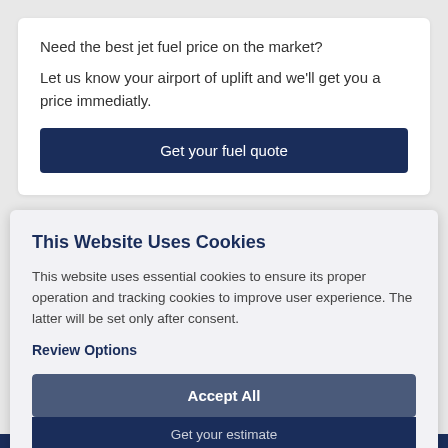Need the best jet fuel price on the market?
Let us know your airport of uplift and we'll get you a price immediatly.
Get your fuel quote
This Website Uses Cookies
This website uses essential cookies to ensure its proper operation and tracking cookies to improve user experience. The latter will be set only after consent.
Review Options
Need more services? Just let us know and we will get you the best price.
Accept All
Get your estimate
Accept Necessary